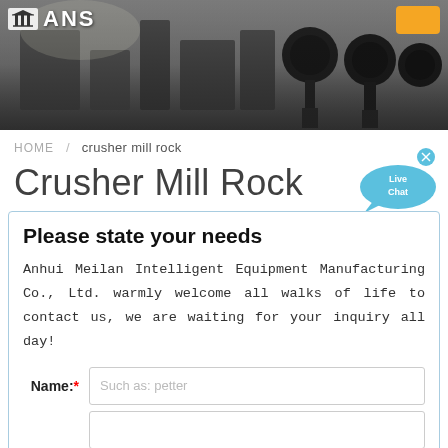[Figure (photo): Industrial machinery/factory floor background photo with microphone-like equipment visible. Logo 'ANS' top-left, orange button top-right.]
HOME / crusher mill rock
Crusher Mill Rock
[Figure (illustration): Live Chat speech bubble button in blue with 'x' close icon]
Please state your needs
Anhui Meilan Intelligent Equipment Manufacturing Co., Ltd. warmly welcome all walks of life to contact us, we are waiting for your inquiry all day!
Name:* Such as: petter